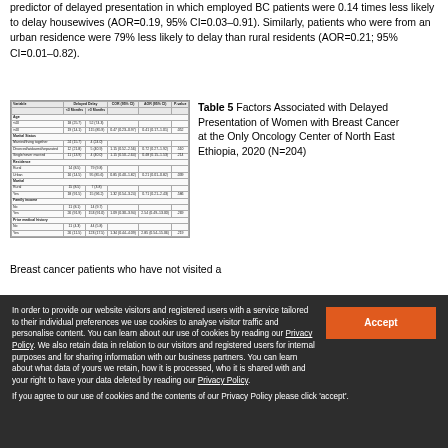predictor of delayed presentation in which employed BC patients were 0.14 times less likely to delay housewives (AOR=0.19, 95% CI=0.03–0.91). Similarly, patients who were from an urban residence were 79% less likely to delay than rural residents (AOR=0.21; 95% CI=0.01–0.82).
[Figure (table-as-image): Small-scale thumbnail of Table 5 showing factors associated with delayed presentation of women with breast cancer]
Table 5 Factors Associated with Delayed Presentation of Women with Breast Cancer at the Only Oncology Center of North East Ethiopia, 2020 (N=204)
Breast cancer patients who have not visited a
In order to provide our website visitors and registered users with a service tailored to their individual preferences we use cookies to analyse visitor traffic and personalise content. You can learn about our use of cookies by reading our Privacy Policy. We also retain data in relation to our visitors and registered users for internal purposes and for sharing information with our business partners. You can learn about what data of yours we retain, how it is processed, who it is shared with and your right to have your data deleted by reading our Privacy Policy.
If you agree to our use of cookies and the contents of our Privacy Policy please click 'accept'.